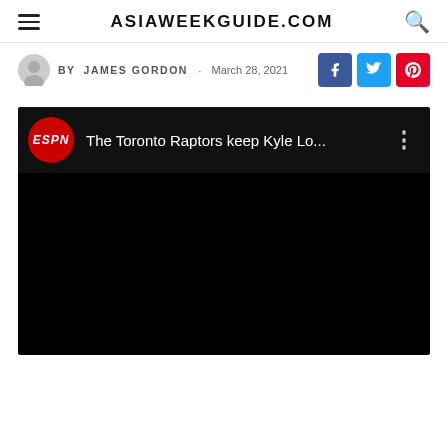ASIAWEEKGUIDE.COM
By JAMES GORDON · March 28, 2021
[Figure (screenshot): Embedded YouTube video player showing an ESPN video titled 'The Toronto Raptors keep Kyle Lo...' with a black video area and ESPN logo.]